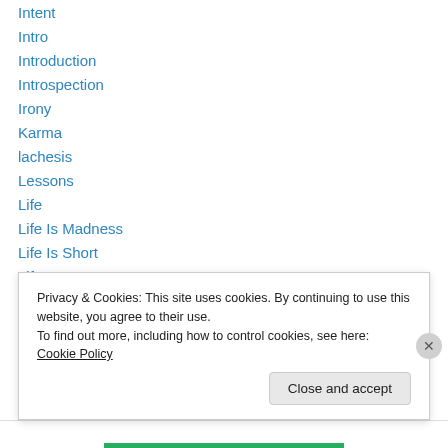Intent
Intro
Introduction
Introspection
Irony
Karma
lachesis
Lessons
Life
Life Is Madness
Life Is Short
Life Lessons
Live or Die
love
Privacy & Cookies: This site uses cookies. By continuing to use this website, you agree to their use.
To find out more, including how to control cookies, see here: Cookie Policy